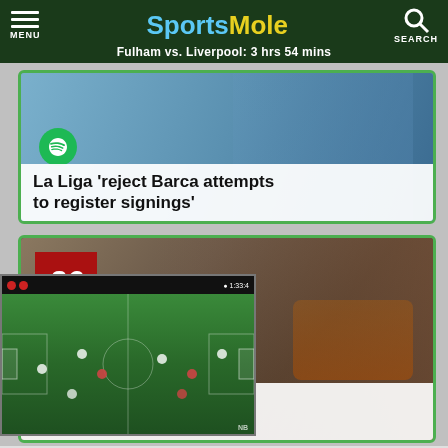SportsMole — Fulham vs. Liverpool: 3 hrs 54 mins
[Figure (screenshot): Sports news card: La Liga 'reject Barca attempts to register signings' with a player in a blue jersey and Spotify logo]
[Figure (screenshot): Sports news card with badge '26': player with hand raised, text 'ed frustrated by g transfer delay', with an inset video thumbnail of a football match]